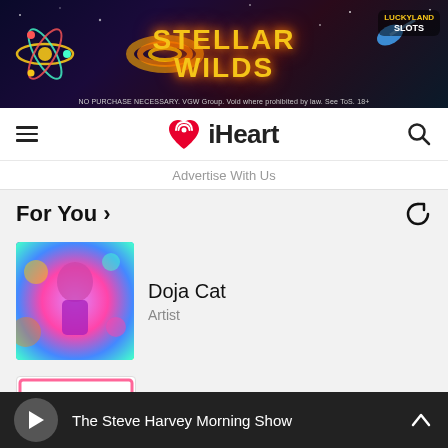[Figure (illustration): Stellar Wilds advertisement banner with space/galaxy theme, LuckyLand Slots branding. Text: STELLAR WILDS, NO PURCHASE NECESSARY. VGW Group. Void where prohibited by law. See ToS. 18+]
iHeart
Advertise With Us
For You >
Doja Cat
Artist
HOT 995
Station
Slippery When Wet
Station
The Steve Harvey Morning Show